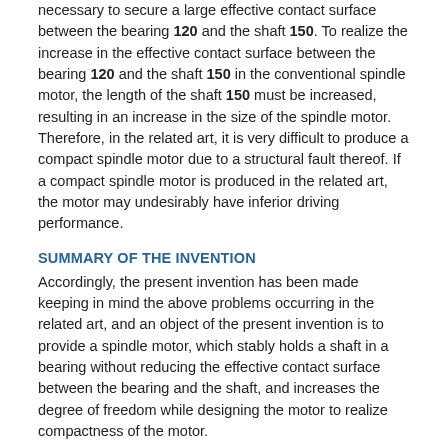necessary to secure a large effective contact surface between the bearing 120 and the shaft 150. To realize the increase in the effective contact surface between the bearing 120 and the shaft 150 in the conventional spindle motor, the length of the shaft 150 must be increased, resulting in an increase in the size of the spindle motor. Therefore, in the related art, it is very difficult to produce a compact spindle motor due to a structural fault thereof. If a compact spindle motor is produced in the related art, the motor may undesirably have inferior driving performance.
SUMMARY OF THE INVENTION
Accordingly, the present invention has been made keeping in mind the above problems occurring in the related art, and an object of the present invention is to provide a spindle motor, which stably holds a shaft in a bearing without reducing the effective contact surface between the bearing and the shaft, and increases the degree of freedom while designing the motor to realize compactness of the motor.
In order to achieve the above object, according to one aspect of the present invention, there is provided a spindle motor comprising: a frame provided with a tubular holder mounted to the center of the frame such that the holder is projected upwards, with a core mounted on the outer circumferential surface of the holder; a bearing fitted into the tubular holder of the frame, the bearing being divided into upper and lower parts, with an outside groove formed on the inner surface of the bearing along an